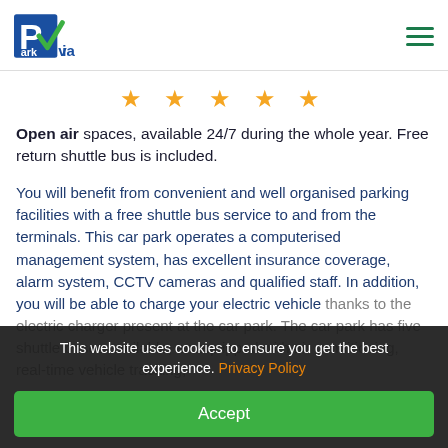ParkVia logo and navigation
[Figure (other): Five gold star rating]
Open air spaces, available 24/7 during the whole year. Free return shuttle bus is included.
You will benefit from convenient and well organised parking facilities with a free shuttle bus service to and from the terminals. This car park operates a computerised management system, has excellent insurance coverage, alarm system, CCTV cameras and qualified staff. In addition, you will be able to charge your electric vehicle thanks to the electric charger present at the car park. The car park has five shuttle buses available, an equipped with air conditioning, real-time vehicle tracking,
This website uses cookies to ensure you get the best experience. Privacy Policy
Accept